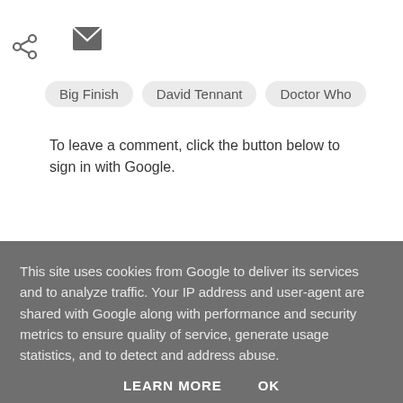[Figure (other): Share icon (less-than style share symbol) and email envelope icon in grey]
Big Finish
David Tennant
Doctor Who
To leave a comment, click the button below to sign in with Google.
[Figure (other): Blue button labeled SIGN IN WITH GOOGLE]
This site uses cookies from Google to deliver its services and to analyze traffic. Your IP address and user-agent are shared with Google along with performance and security metrics to ensure quality of service, generate usage statistics, and to detect and address abuse.
LEARN MORE   OK